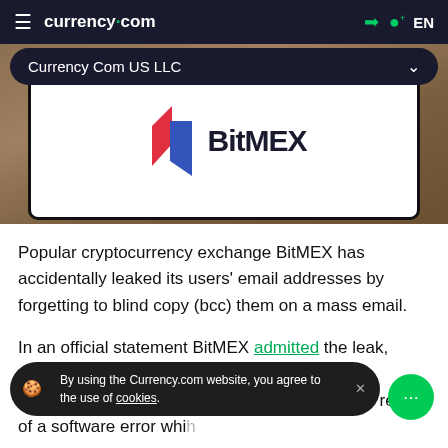currency.com  EN
[Figure (screenshot): Currency Com US LLC dropdown pill overlaid on a photograph of a smartphone displaying the BitMEX logo (red and blue angular arrow icon with 'BitMEX' text in bold dark letters on white screen), placed on a wooden surface.]
Popular cryptocurrency exchange BitMEX has accidentally leaked its users' email addresses by forgetting to blind copy (bcc) them on a mass email.
In an official statement BitMEX admitted the leak, saying, "We apologise for the concern this communication may have caused. This was the result of a software error which [was addressed]."
By using the Currency.com website, you agree to the use of cookies.